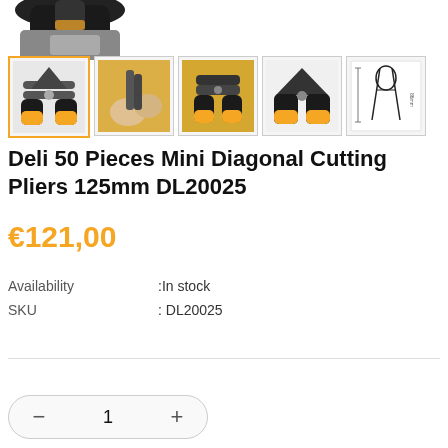[Figure (photo): Partial view of the main product image — diagonal cutting pliers with black and yellow handles, shown from above, cropped at top.]
[Figure (photo): Row of 5 product thumbnail images: 1st (selected/highlighted with orange border) shows pliers front view; 2nd shows hands using pliers on yellow material; 3rd shows pliers on yellow surface; 4th shows pliers open side view; 5th shows pliers dimensions diagram on white background.]
Deli 50 Pieces Mini Diagonal Cutting Pliers 125mm DL20025
€121,00
Availability :In stock
SKU : DL20025